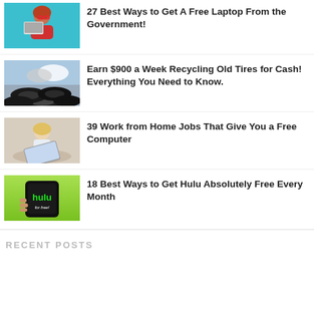[Figure (photo): Woman with red glasses holding a laptop against a blue background]
27 Best Ways to Get A Free Laptop From the Government!
[Figure (photo): Stack of old tires with cloudy sky in background]
Earn $900 a Week Recycling Old Tires for Cash! Everything You Need to Know.
[Figure (photo): Blonde woman sitting on floor with laptop]
39 Work from Home Jobs That Give You a Free Computer
[Figure (photo): Hand holding phone with Hulu for free app screen on green background]
18 Best Ways to Get Hulu Absolutely Free Every Month
RECENT POSTS